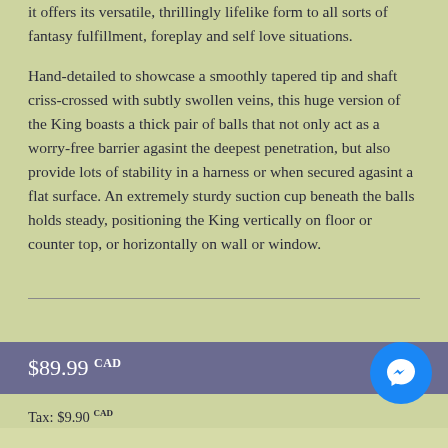it offers its versatile, thrillingly lifelike form to all sorts of fantasy fulfillment, foreplay and self love situations.
Hand-detailed to showcase a smoothly tapered tip and shaft criss-crossed with subtly swollen veins, this huge version of the King boasts a thick pair of balls that not only act as a worry-free barrier agasint the deepest penetration, but also provide lots of stability in a harness or when secured agasint a flat surface. An extremely sturdy suction cup beneath the balls holds steady, positioning the King vertically on floor or counter top, or horizontally on wall or window.
$89.99 CAD
Tax: $9.90 CAD